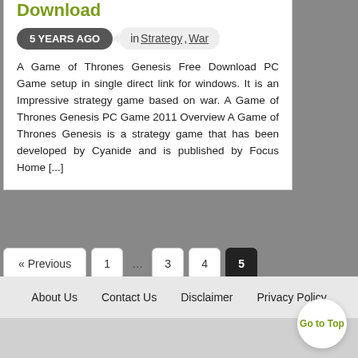Download
5 YEARS AGO  in Strategy, War
A Game of Thrones Genesis Free Download PC Game setup in single direct link for windows. It is an Impressive strategy game based on war. A Game of Thrones Genesis PC Game 2011 Overview A Game of Thrones Genesis is a strategy game that has been developed by Cyanide and is published by Focus Home [...]
About Us   Contact Us   Disclaimer   Privacy Policy
Go to Top